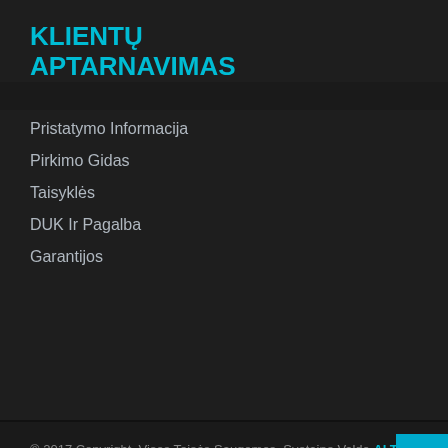KLIENTŲ APTARNAVIMAS
Pristatymo Informacija
Pirkimo Gidas
Taisyklės
DUK Ir Pagalba
Garantijos
© 2017 Copyright. Visos Teisės Saugomos. Svetainę Valdo ALTUM RETAIL
[Figure (logo): Payment method logos: PayPal, Amazon, Skrill, VISA, Discover, MasterCard]